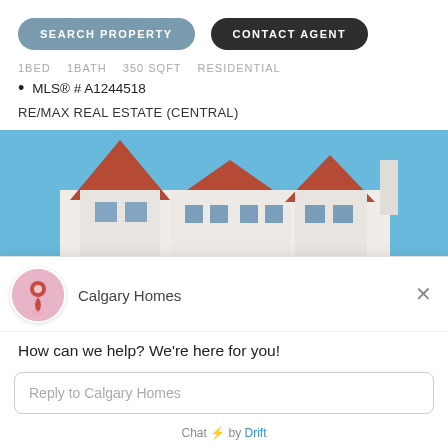[Figure (screenshot): Two pill-shaped buttons: 'SEARCH PROPERTY' (blue-grey) and 'CONTACT AGENT' (dark grey)]
1BED   1BATH   350 SQFT   RESIDENTIAL
MLS® # A1244518
RE/MAX REAL ESTATE (CENTRAL)
[Figure (photo): Exterior photo of a large white Victorian-style house with red/terracotta peaked roofs and a chimney, against a clear blue sky.]
[Figure (screenshot): Drift chat widget popup with Calgary Homes logo avatar, message 'How can we help? We're here for you!', reply input field, and 'Chat by Drift' footer.]